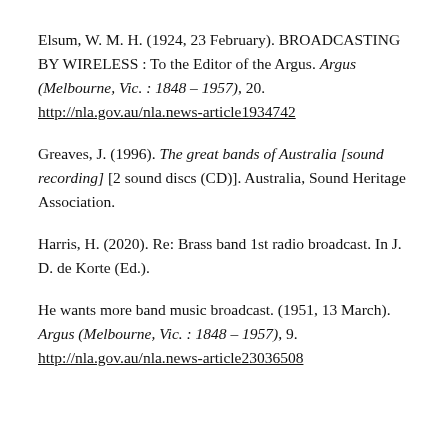Elsum, W. M. H. (1924, 23 February). BROADCASTING BY WIRELESS : To the Editor of the Argus. Argus (Melbourne, Vic. : 1848 – 1957), 20. http://nla.gov.au/nla.news-article1934742
Greaves, J. (1996). The great bands of Australia [sound recording] [2 sound discs (CD)]. Australia, Sound Heritage Association.
Harris, H. (2020). Re: Brass band 1st radio broadcast. In J. D. de Korte (Ed.).
He wants more band music broadcast. (1951, 13 March). Argus (Melbourne, Vic. : 1848 – 1957), 9. http://nla.gov.au/nla.news-article23036508